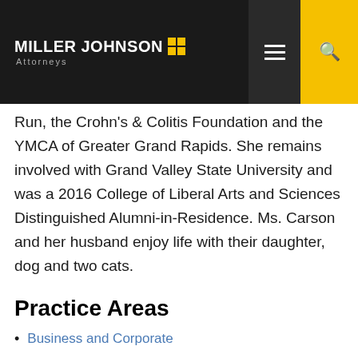MILLER JOHNSON Attorneys — navigation bar
Ms. Carson is an involved member of Girls on the Run, the Crohn's & Colitis Foundation and the YMCA of Greater Grand Rapids. She remains involved with Grand Valley State University and was a 2016 College of Liberal Arts and Sciences Distinguished Alumni-in-Residence. Ms. Carson and her husband enjoy life with their daughter, dog and two cats.
Practice Areas
Business and Corporate
Mergers and Acquisitions
Corporate Finance
Entrepreneurial